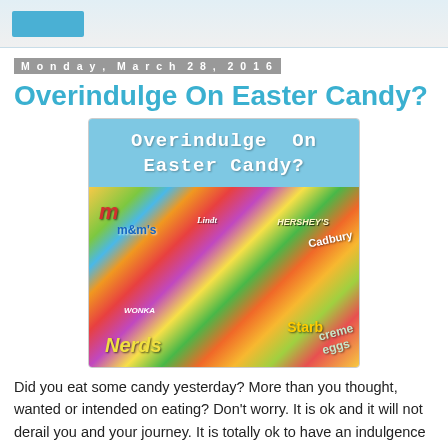Monday, March 28, 2016
Overindulge On Easter Candy?
[Figure (illustration): Blog post feature image showing an assortment of Easter candy brands including M&M's, Lindt, Hershey's, Cadbury Creme Eggs, Starburst Jellybeans, Wonka Nerds, with text 'Overindulge On Easter Candy?' overlaid on a blue background at the top.]
Did you eat some candy yesterday? More than you thought, wanted or intended on eating? Don't worry. It is ok and it will not derail you and your journey. It is totally ok to have an indulgence every